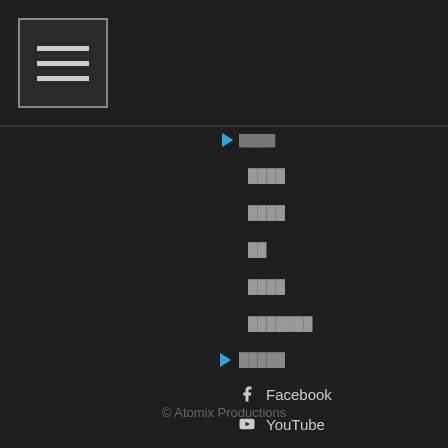[Figure (other): Hamburger menu button icon with three horizontal lines]
████
████
██
████
███████
█████
Facebook
YouTube
Instagram #virtualdj
Twitter #virtualdj
© Atomix Productions